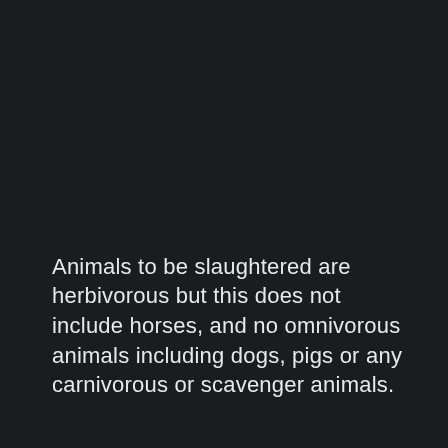Animals to be slaughtered are herbivorous but this does not include horses, and no omnivorous animals including dogs, pigs or any carnivorous or scavenger animals.